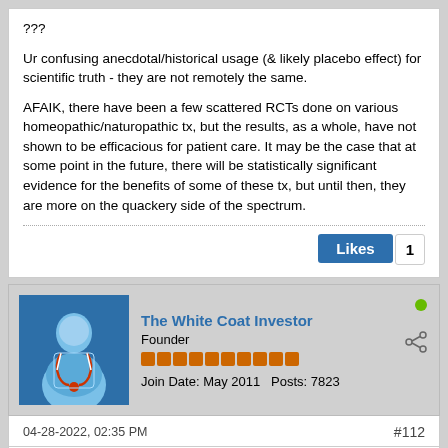???
Ur confusing anecdotal/historical usage (& likely placebo effect) for scientific truth - they are not remotely the same.
AFAIK, there have been a few scattered RCTs done on various homeopathic/naturopathic tx, but the results, as a whole, have not shown to be efficacious for patient care. It may be the case that at some point in the future, there will be statistically significant evidence for the benefits of some of these tx, but until then, they are more on the quackery side of the spectrum.
The White Coat Investor | Founder | Join Date: May 2011  Posts: 7823
04-28-2022, 02:35 PM
#112